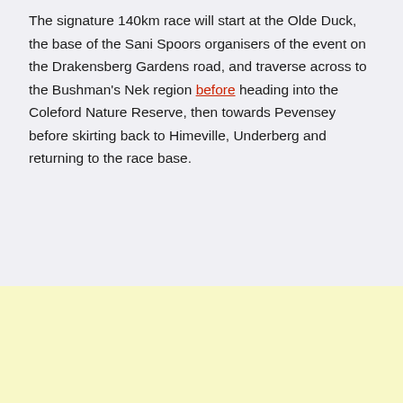The signature 140km race will start at the Olde Duck, the base of the Sani Spoors organisers of the event on the Drakensberg Gardens road, and traverse across to the Bushman's Nek region before heading into the Coleford Nature Reserve, then towards Pevensey before skirting back to Himeville, Underberg and returning to the race base.
[Figure (other): Pale yellow advertisement or banner area at the bottom of the page]